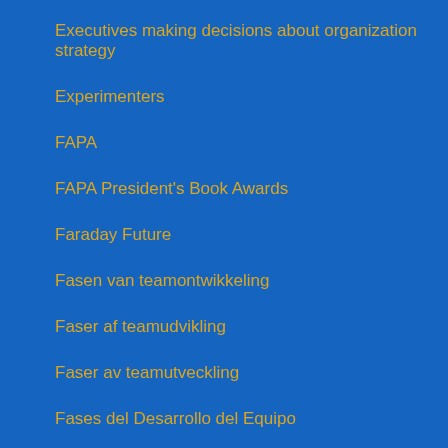Executives making decisions about organization strategy
Experimenters
FAPA
FAPA President's Book Awards
Faraday Future
Fasen van teamontwikkeling
Faser af teamudvikling
Faser av teamutveckling
Fases del Desarrollo del Equipo